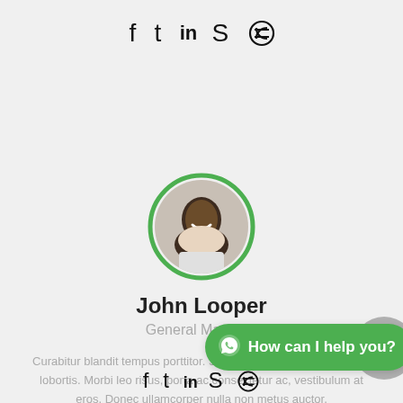[Figure (illustration): Social media icons row (Facebook, Twitter, LinkedIn, Skype, Dribbble) at top of page]
[Figure (photo): Circular avatar photo of John Looper with green border ring]
John Looper
General Manager
Curabitur blandit tempus porttitor. Sed posuere consectetur est at lobortis. Morbi leo risus, porta ac consectetur ac, vestibulum at eros. Donec ullamcorper nulla non metus auctor.
[Figure (illustration): Social media icons row (Facebook, Twitter, LinkedIn, Skype, Dribbble) at bottom of page, partially obscured by WhatsApp chat bubble]
[Figure (other): Green WhatsApp chat bubble with text 'How can I help you?']